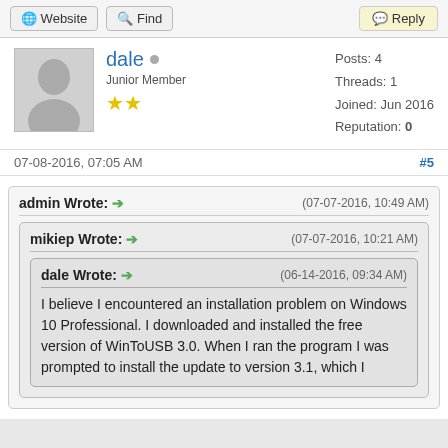Website | Find | Reply
dale
Junior Member
Posts: 4
Threads: 1
Joined: Jun 2016
Reputation: 0
07-08-2016, 07:05 AM  #5
admin Wrote: → (07-07-2016, 10:49 AM)
mikiep Wrote: → (07-07-2016, 10:21 AM)
dale Wrote: → (06-14-2016, 09:34 AM)
I believe I encountered an installation problem on Windows 10 Professional. I downloaded and installed the free version of WinToUSB 3.0. When I ran the program I was prompted to install the update to version 3.1, which I